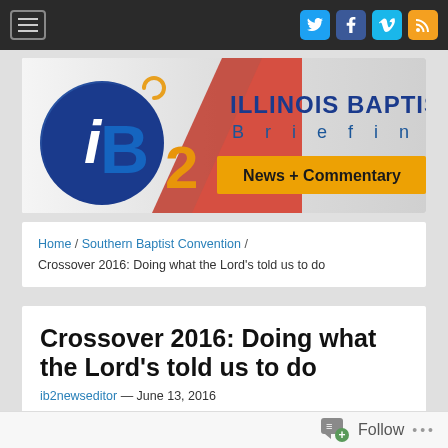Illinois Baptist Briefing — Navigation bar with hamburger menu and social icons (Twitter, Facebook, Vimeo, RSS)
[Figure (logo): iB2 Illinois Baptist Briefing logo — large stylized 'iB2' letters in blue/red/white on left, 'ILLINOIS BAPTIST Briefing' text in blue on right, 'News + Commentary' in bold on gold/orange banner]
Home / Southern Baptist Convention / Crossover 2016: Doing what the Lord's told us to do
Crossover 2016: Doing what the Lord's told us to do
ib2newseditor — June 13, 2016
[Figure (photo): Partial photo showing green tree foliage, cropped at bottom of page]
Follow ...